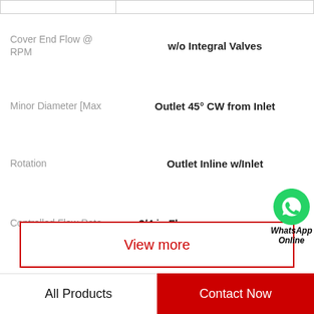| Property | Value |
| --- | --- |
| Cover End Flow @ RPM | w/o Integral Valves |
| Minor Diameter [Max | Outlet 45° CW from Inlet |
| Rotation | Outlet Inline w/Inlet |
| Controlled Flow Rate | 3/4 in Flange |
| Relief Valve Setting | 1 1/4 in Flange |
| Model No. | 1.7 |
View more
All Products | Contact Now